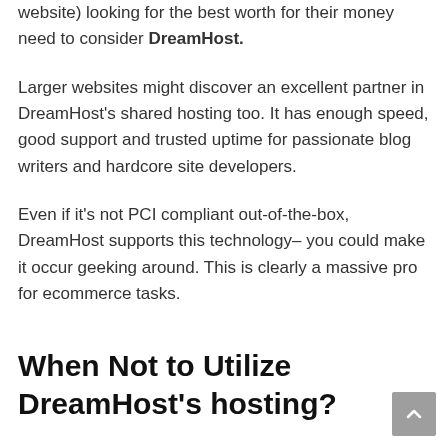website) looking for the best worth for their money need to consider DreamHost.
Larger websites might discover an excellent partner in DreamHost's shared hosting too. It has enough speed, good support and trusted uptime for passionate blog writers and hardcore site developers.
Even if it's not PCI compliant out-of-the-box, DreamHost supports this technology– you could make it occur geeking around. This is clearly a massive pro for ecommerce tasks.
When Not to Utilize DreamHost's hosting?